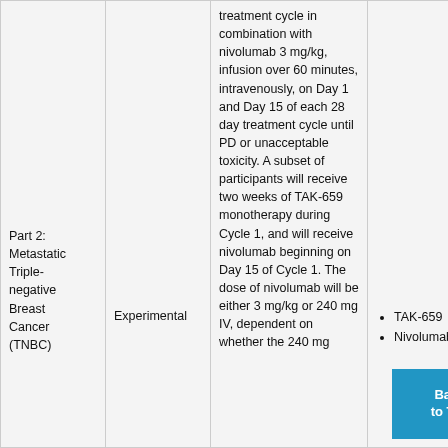| Arm/Group | Type | Description | Interventions |
| --- | --- | --- | --- |
| Part 2: Metastatic Triple-negative Breast Cancer (TNBC) | Experimental | treatment cycle in combination with nivolumab 3 mg/kg, infusion over 60 minutes, intravenously, on Day 1 and Day 15 of each 28 day treatment cycle until PD or unacceptable toxicity. A subset of participants will receive two weeks of TAK-659 monotherapy during Cycle 1, and will receive nivolumab beginning on Day 15 of Cycle 1. The dose of nivolumab will be either 3 mg/kg or 240 mg IV, dependent on whether the 240 mg | TAK-659
Nivolumab |